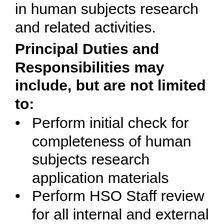in human subjects research and related activities.
Principal Duties and Responsibilities may include, but are not limited to:
Perform initial check for completeness of human subjects research application materials
Perform HSO Staff review for all internal and external HawkIRB submissions (including HSRD forms, new projects, continuing review, modifications, and